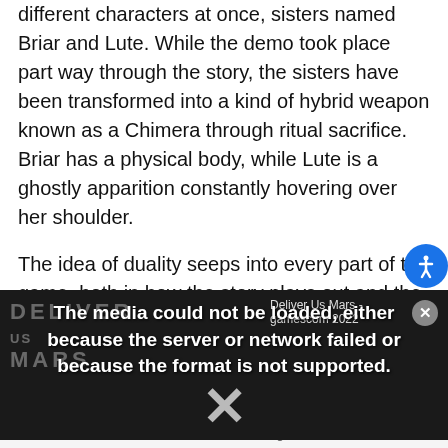different characters at once, sisters named Briar and Lute. While the demo took place part way through the story, the sisters have been transformed into a kind of hybrid weapon known as a Chimera through ritual sacrifice. Briar has a physical body, while Lute is a ghostly apparition constantly hovering over her shoulder.
The idea of duality seeps into every part of the game, both in how the story plays out and the dual-character combat system, which feels like a mix
[Figure (screenshot): Video player showing 'Deliver Us Mars - gamescom 2022' with a media error overlay: 'The media could not be loaded, either because the server or network failed or because the format is not supported.' with a large X symbol over a dark background showing the Deliver Us Mars game logo.]
gave me access to a slow but powerful hammer and an AoE chain weapon.
Featured Advertising